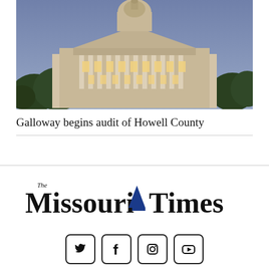[Figure (photo): Aerial dusk photo of the Missouri State Capitol building lit up at night, with trees in the foreground and a blue-purple sky]
Galloway begins audit of Howell County
[Figure (logo): The Missouri Times newspaper logo with a blue capitol dome icon between 'Missouri' and 'Times', with 'The' in small text above 'Missouri']
[Figure (infographic): Row of four social media icon buttons: Twitter (bird), Facebook (f), Instagram (camera), YouTube (play button)]